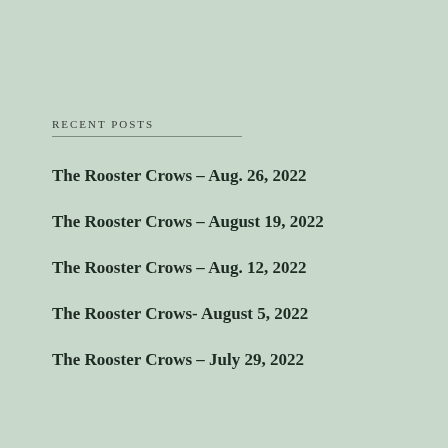RECENT POSTS
The Rooster Crows – Aug. 26, 2022
The Rooster Crows – August 19, 2022
The Rooster Crows – Aug. 12, 2022
The Rooster Crows- August 5, 2022
The Rooster Crows – July 29, 2022